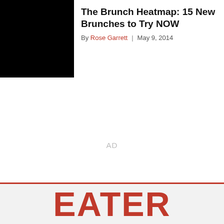[Figure (photo): Black rectangular image placeholder on the left side of the header]
The Brunch Heatmap: 15 New Brunches to Try NOW
By Rose Garrett | May 9, 2014
AD
EATER